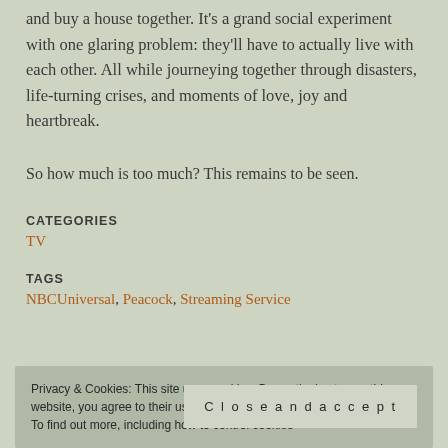and buy a house together. It's a grand social experiment with one glaring problem: they'll have to actually live with each other. All while journeying together through disasters, life-turning crises, and moments of love, joy and heartbreak.
So how much is too much? This remains to be seen.
CATEGORIES
TV
TAGS
NBCUniversal, Peacock, Streaming Service
Privacy & Cookies: This site uses cookies. By continuing to use this website, you agree to their use.
To find out more, including how to control cookies
Close and accept